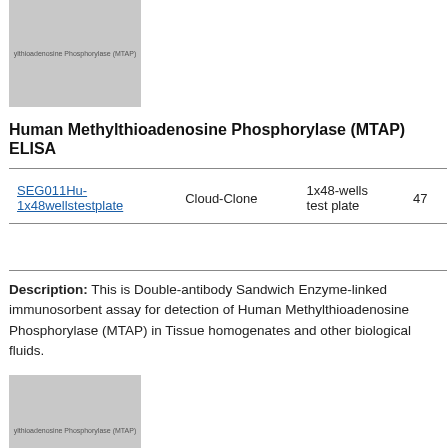[Figure (photo): Product image placeholder for Methylthioadenosine Phosphorylase (MTAP) ELISA kit, gray rectangle with text label]
Human Methylthioadenosine Phosphorylase (MTAP) ELISA
| Product ID | Supplier | Size | Price |
| --- | --- | --- | --- |
| SEG011Hu-1x48wellstestplate | Cloud-Clone | 1x48-wells test plate | 47... |
Description: This is Double-antibody Sandwich Enzyme-linked immunosorbent assay for detection of Human Methylthioadenosine Phosphorylase (MTAP) in Tissue homogenates and other biological fluids.
[Figure (photo): Second product image placeholder for Methylthioadenosine Phosphorylase (MTAP) ELISA kit, gray rectangle with text label]